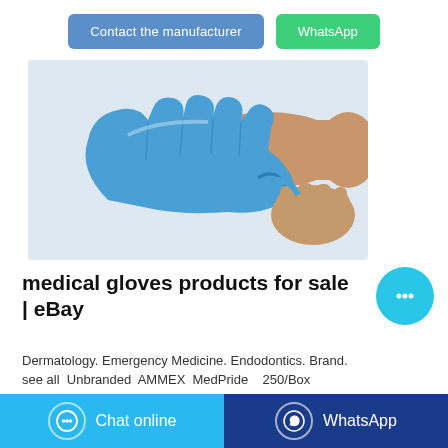Contact the manufacturer
WhatsApp
[Figure (photo): A pair of hands wearing and stretching a blue nitrile/latex medical glove against a white background]
medical gloves products for sale | eBay
Dermatology. Emergency Medicine. Endodontics. Brand. see all  Unbranded  AMMEX  MedPride    250/Box
Chat online
WhatsApp